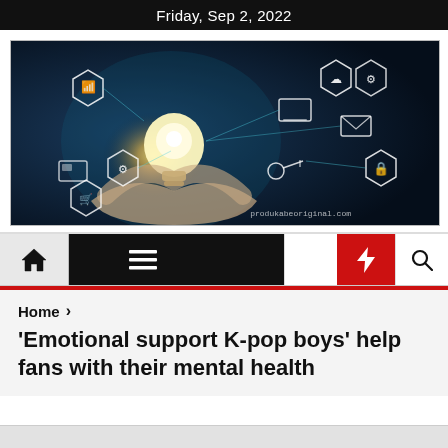Friday, Sep 2, 2022
[Figure (photo): Person holding a glowing light bulb surrounded by digital technology icons including WiFi, cloud, settings, email, lock, and shopping cart on a dark blue background. Watermark: produkabeoriginal.com]
[Figure (screenshot): Website navigation bar with home icon, hamburger menu, dark mode moon icon, lightning bolt icon on red background, and search icon]
Home >
'Emotional support K-pop boys' help fans with their mental health